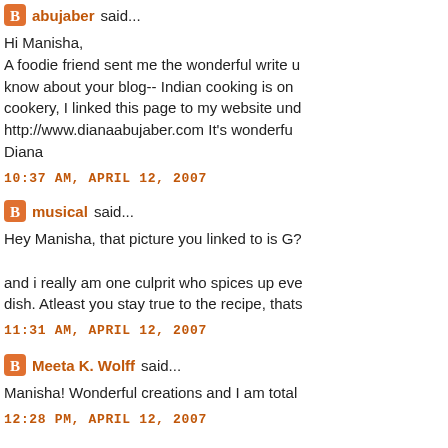abujaber said... Hi Manisha, A foodie friend sent me the wonderful write up, know about your blog-- Indian cooking is on cookery, I linked this page to my website und http://www.dianaabujaber.com It's wonderfu Diana
10:37 AM, APRIL 12, 2007
musical said... Hey Manisha, that picture you linked to is G? and i really am one culprit who spices up eve dish. Atleast you stay true to the recipe, thats
11:31 AM, APRIL 12, 2007
Meeta K. Wolff said... Manisha! Wonderful creations and I am total
12:28 PM, APRIL 12, 2007